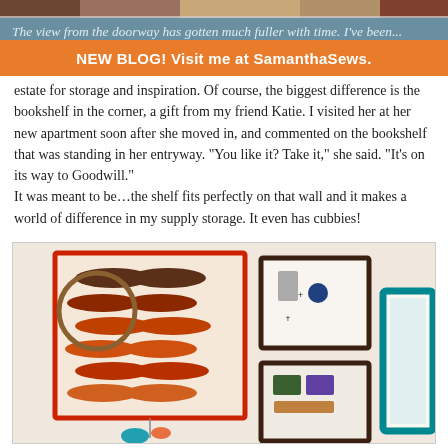[Figure (photo): Top strip showing a partial photo banner at the very top of the page]
The view from the doorway has gotten much fuller with time. I've been...
[Figure (infographic): Orange banner: NEW BLOG! Visit me at SamanthaSews.]
estate for storage and inspiration. Of course, the biggest difference is the bookshelf in the corner, a gift from my friend Katie. I visited her at her new apartment soon after she moved in, and commented on the bookshelf that was standing in her entryway. “You like it? Take it,” she said. “It’s on its way to Goodwill.”
It was meant to be…the shelf fits perfectly on that wall and it makes a world of difference in my supply storage. It even has cubbies!
[Figure (photo): Photo of a wall decorated with a framed dachshund cross-stitch/fabric artwork with an embroidery hoop, framed pictures, and a teal-framed mirror]